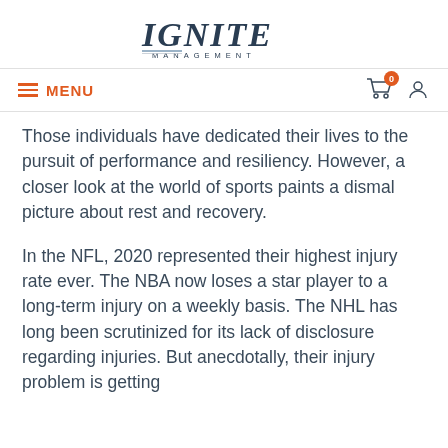[Figure (logo): IGNITE MANAGEMENT logo in italic serif capitals with decorative underline]
≡ MENU  [cart icon with badge 0]  [user icon]
Those individuals have dedicated their lives to the pursuit of performance and resiliency. However, a closer look at the world of sports paints a dismal picture about rest and recovery.
In the NFL, 2020 represented their highest injury rate ever. The NBA now loses a star player to a long-term injury on a weekly basis. The NHL has long been scrutinized for its lack of disclosure regarding injuries. But anecdotally, their injury problem is getting